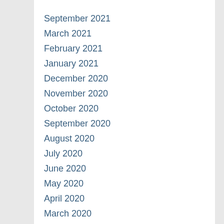September 2021
March 2021
February 2021
January 2021
December 2020
November 2020
October 2020
September 2020
August 2020
July 2020
June 2020
May 2020
April 2020
March 2020
February 2020
January 2020
December 2019
November 2019